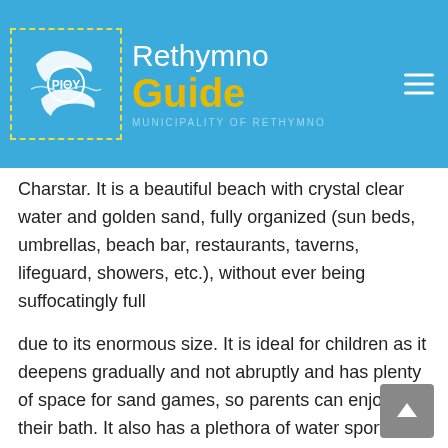[Figure (logo): Rethymno Guide logo with dolphin emblem inside dashed yellow border, text 'Rethymno' in white and 'Guide' in gold/yellow, 'MUNICIPALITY OF RETHYMNO' subtitle, hamburger menu icon on right, blue background header]
Charstar. It is a beautiful beach with crystal clear water and golden sand, fully organized (sun beds, umbrellas, beach bar, restaurants, taverns, lifeguard, showers, etc.), without ever being suffocatingly full
due to its enormous size. It is ideal for children as it deepens gradually and not abruptly and has plenty of space for sand games, so parents can enjoy their bath. It also has a plethora of water sports. What is striking and at the same time unprecedented on this beach is that the protected Carreta-Carreta turtles lay their eggs along the beach during the summer months. That's why several places are fenced, so that the turtles can give birth in safe places.
BEACH OF EPISKOPI
The beach of Episkopi is located 12 km west of Rethymno, about 15-20 minutes drive from the city